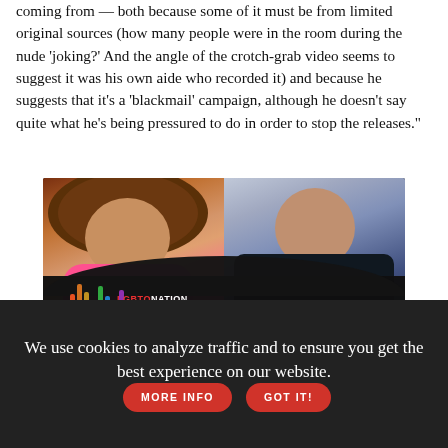coming from — both because some of it must be from limited original sources (how many people were in the room during the nude 'joking?' And the angle of the crotch-grab video seems to suggest it was his own aide who recorded it) and because he suggests that it's a 'blackmail' campaign, although he doesn't say quite what he's being pressured to do in order to stop the releases."
[Figure (photo): Advertisement image: LGBTQ Nation - Authentic Voices of Pride: LGBTQ Small Town Life, sponsored by Chevrolet. Shows two people in a split photo — a drag performer on the left and a young man on the right.]
We use cookies to analyze traffic and to ensure you get the best experience on our website.
MORE INFO
GOT IT!